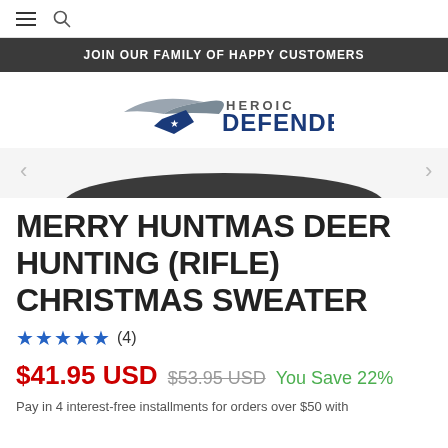≡ 🔍
JOIN OUR FAMILY OF HAPPY CUSTOMERS
[Figure (logo): Heroic Defender eagle logo with text HEROIC DEFENDER]
[Figure (photo): Partial product image showing a dark curved item]
MERRY HUNTMAS DEER HUNTING (RIFLE) CHRISTMAS SWEATER
★★★★★ (4)
$41.95 USD  $53.95 USD  You Save 22%
Pay in 4 interest-free installments for orders over $50 with